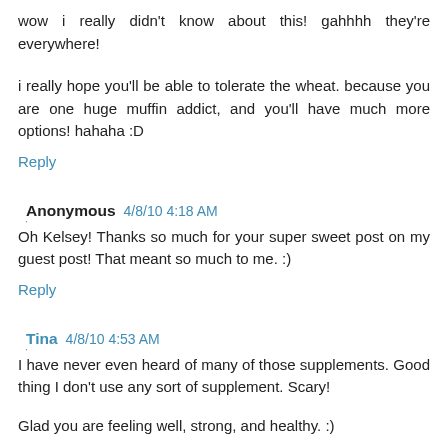wow i really didn't know about this! gahhhh they're everywhere!
i really hope you'll be able to tolerate the wheat. because you are one huge muffin addict, and you'll have much more options! hahaha :D
Reply
Anonymous  4/8/10 4:18 AM
Oh Kelsey! Thanks so much for your super sweet post on my guest post! That meant so much to me. :)
Reply
Tina  4/8/10 4:53 AM
I have never even heard of many of those supplements. Good thing I don't use any sort of supplement. Scary!
Glad you are feeling well, strong, and healthy. :)